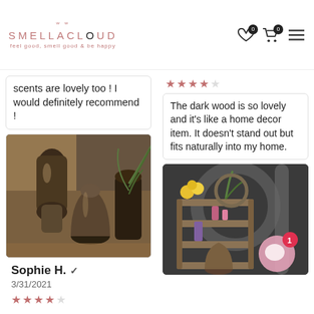SMELLACLOUD — feel good, smell good & be happy
scents are lovely too ! I would definitely recommend !
[Figure (photo): Two dark bronze/wood essential oil diffusers with greenery, on a wooden surface]
Sophie H. ✓ 3/31/2021
[Figure (other): Star rating — 4 out of 5 stars, pink/rose colored]
[Figure (other): Star rating — 4 out of 5 stars, pink/rose colored (top right reviewer)]
The dark wood is so lovely and it's like a home decor item. It doesn't stand out but fits naturally into my home.
[Figure (photo): Dark metal/industrial style shelving unit with yellow flowers, greenery, cosmetics and a diffuser, with a circular chat widget overlay showing notification badge 1]